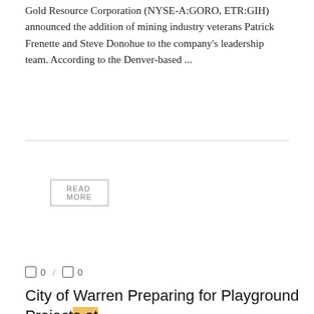Gold Resource Corporation (NYSE-A:GORO, ETR:GIH) announced the addition of mining industry veterans Patrick Frenette and Steve Donohue to the company's leadership team. According to the Denver-based ...
READ MORE
FEASIBILITY STUDIES
0 / 0
City of Warren Preparing for Playground Projects at